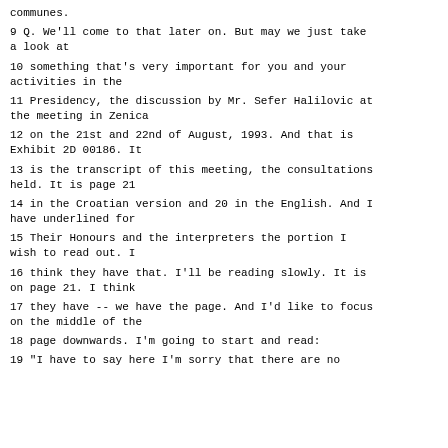communes.
9 Q. We'll come to that later on. But may we just take a look at
10 something that's very important for you and your activities in the
11 Presidency, the discussion by Mr. Sefer Halilovic at the meeting in Zenica
12 on the 21st and 22nd of August, 1993. And that is Exhibit 2D 00186. It
13 is the transcript of this meeting, the consultations held. It is page 21
14 in the Croatian version and 20 in the English. And I have underlined for
15 Their Honours and the interpreters the portion I wish to read out. I
16 think they have that. I'll be reading slowly. It is on page 21. I think
17 they have -- we have the page. And I'd like to focus on the middle of the
18 page downwards. I'm going to start and read:
19 "I have to say here I'm sorry that there are no